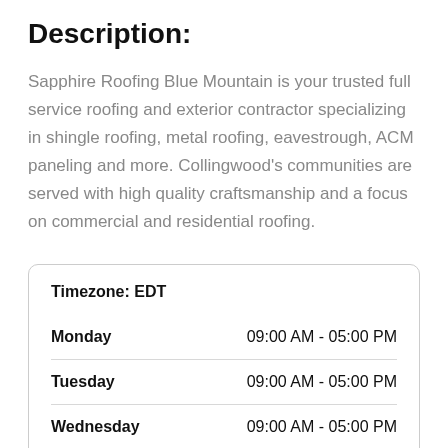Description:
Sapphire Roofing Blue Mountain is your trusted full service roofing and exterior contractor specializing in shingle roofing, metal roofing, eavestrough, ACM paneling and more. Collingwood’s communities are served with high quality craftsmanship and a focus on commercial and residential roofing.
| Day | Hours |
| --- | --- |
| Monday | 09:00 AM - 05:00 PM |
| Tuesday | 09:00 AM - 05:00 PM |
| Wednesday | 09:00 AM - 05:00 PM |
| Thursday | 09:00 AM - 05:00 PM |